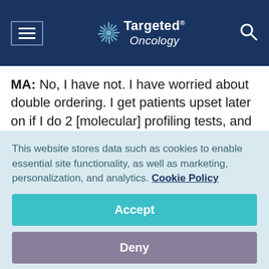Targeted Oncology
MA: No, I have not. I have worried about double ordering. I get patients upset later on if I do 2 [molecular] profiling tests, and they get a big bill. I don't usually do that in hospital. I will usually just send for our NGS now—the in-house testing. Within Tennessee Oncology, there's a trick. You can preorder it. I have new patients: I order all the
This website stores data such as cookies to enable essential site functionality, as well as marketing, personalization, and analytics. Cookie Policy
Accept
Deny